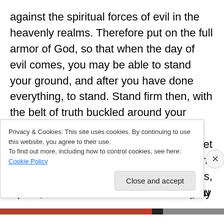against the spiritual forces of evil in the heavenly realms. Therefore put on the full armor of God, so that when the day of evil comes, you may be able to stand your ground, and after you have done everything, to stand. Stand firm then, with the belt of truth buckled around your waist, with the breastplate of righteousness in place, and with your feet fitted with the readiness that comes from the gospel of peace. In addition to all this, take up the shield of faith, with which you can extinguish all the flaming arrows of the evil one. Take the helmet of salvation and the sword of the
Spirit, which is the word of God. And pray in the Spirit on
Privacy & Cookies: This site uses cookies. By continuing to use this website, you agree to their use.
To find out more, including how to control cookies, see here: Cookie Policy